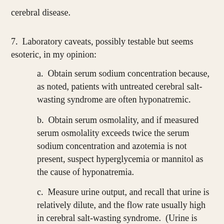cerebral disease.
7.  Laboratory caveats, possibly testable but seems esoteric, in my opinion:
a.  Obtain serum sodium concentration because, as noted, patients with untreated cerebral salt-wasting syndrome are often hyponatremic.
b.  Obtain serum osmolality, and if measured serum osmolality exceeds twice the serum sodium concentration and azotemia is not present, suspect hyperglycemia or mannitol as the cause of hyponatremia.
c.  Measure urine output, and recall that urine is relatively dilute, and the flow rate usually high in cerebral salt-wasting syndrome.  (Urine is usually very concentrated, and the flow rate low in